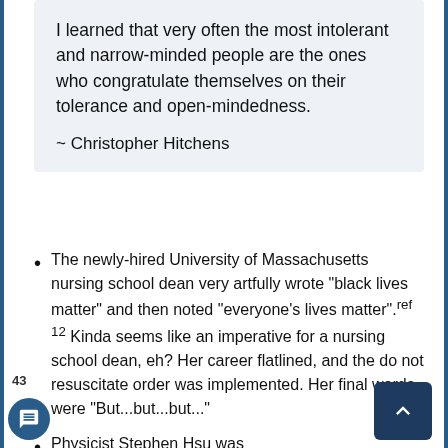I learned that very often the most intolerant and narrow-minded people are the ones who congratulate themselves on their tolerance and open-mindedness.

~ Christopher Hitchens
The newly-hired University of Massachusetts nursing school dean very artfully wrote "black lives matter" and then noted "everyone's lives matter".ref 12 Kinda seems like an imperative for a nursing school dean, eh? Her career flatlined, and the do not resuscitate order was implemented. Her final words were "But...but...but..."
Physicist Stephen Hsu was...
43